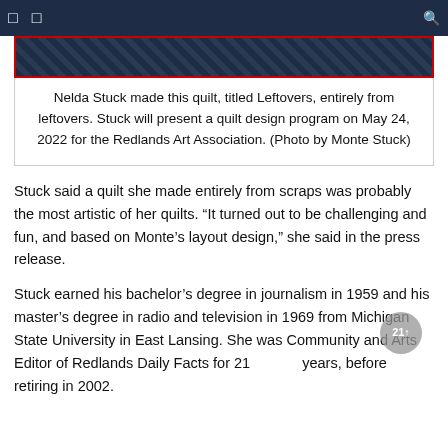[Figure (photo): A quilt with a dark patterned design, titled Leftovers, shown behind a red-bordered frame.]
Nelda Stuck made this quilt, titled Leftovers, entirely from leftovers. Stuck will present a quilt design program on May 24, 2022 for the Redlands Art Association. (Photo by Monte Stuck)
Stuck said a quilt she made entirely from scraps was probably the most artistic of her quilts. “It turned out to be challenging and fun, and based on Monte’s layout design,” she said in the press release.
Stuck earned his bachelor’s degree in journalism in 1959 and his master’s degree in radio and television in 1969 from Michigan State University in East Lansing. She was Community and Arts Editor of Redlands Daily Facts for 21 years, before retiring in 2002.